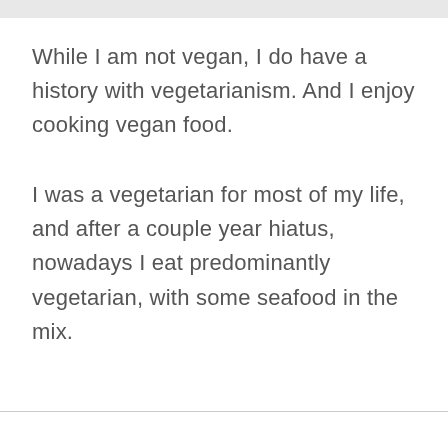While I am not vegan, I do have a history with vegetarianism. And I enjoy cooking vegan food.
I was a vegetarian for most of my life, and after a couple year hiatus, nowadays I eat predominantly vegetarian, with some seafood in the mix.